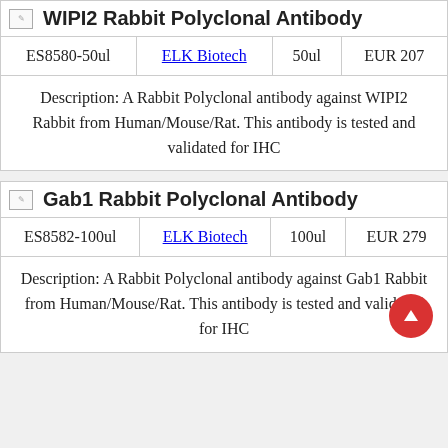WIPI2 Rabbit Polyclonal Antibody
| ID | Supplier | Volume | Price |
| --- | --- | --- | --- |
| ES8580-50ul | ELK Biotech | 50ul | EUR 207 |
Description: A Rabbit Polyclonal antibody against WIPI2 Rabbit from Human/Mouse/Rat. This antibody is tested and validated for IHC
Gab1 Rabbit Polyclonal Antibody
| ID | Supplier | Volume | Price |
| --- | --- | --- | --- |
| ES8582-100ul | ELK Biotech | 100ul | EUR 279 |
Description: A Rabbit Polyclonal antibody against Gab1 Rabbit from Human/Mouse/Rat. This antibody is tested and validated for IHC